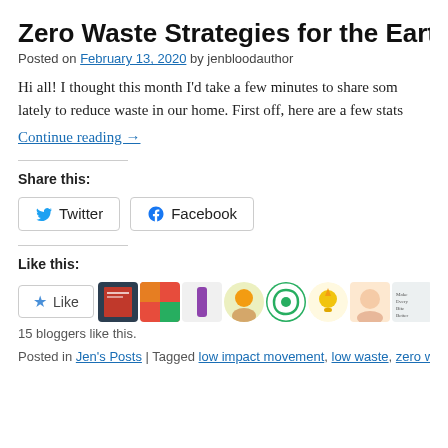Zero Waste Strategies for the Earth-Frien
Posted on February 13, 2020 by jenbloodauthor
Hi all! I thought this month I'd take a few minutes to share som lately to reduce waste in our home. First off, here are a few stats
Continue reading →
Share this:
Twitter  Facebook
Like this:
[Figure (other): Like button and 15 blogger avatars]
15 bloggers like this.
Posted in Jen's Posts | Tagged low impact movement, low waste, zero waste